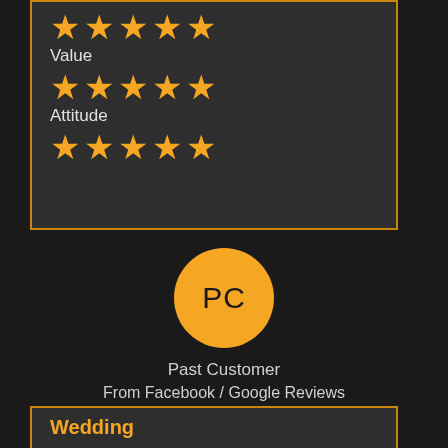[Figure (infographic): Star ratings for Value and Attitude categories, each showing 5 golden stars]
Value
Attitude
[Figure (illustration): Orange circular avatar with initials PC]
Past Customer
From Facebook / Google Reviews
Wedding